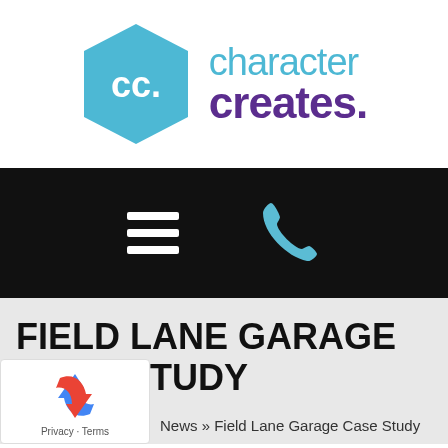[Figure (logo): Character Creates logo: light blue hexagon with 'cc.' text in white, next to 'character creates.' text in blue and purple]
[Figure (screenshot): Black navigation bar with hamburger menu icon (three white horizontal lines) on left and light blue phone icon on right]
FIELD LANE GARAGE CASE STUDY
News » Field Lane Garage Case Study
[Figure (other): Google reCAPTCHA badge with recycling-arrows icon and 'Privacy - Terms' text]